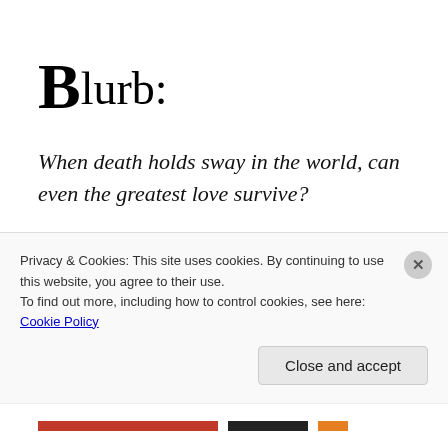Blurb:
When death holds sway in the world, can even the greatest love survive?
Finally in France, Alyse and Thomas's passion for one another continues to smolder hot and deep—until one
Privacy & Cookies: This site uses cookies. By continuing to use this website, you agree to their use.
To find out more, including how to control cookies, see here: Cookie Policy
Close and accept